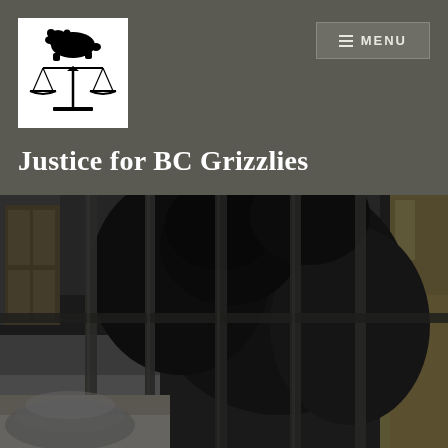[Figure (logo): Bear standing on scales of justice logo, black silhouette on white background]
Justice for BC Grizzlies
[Figure (photo): Black and white photograph of a grizzly bear behind metal cage bars]